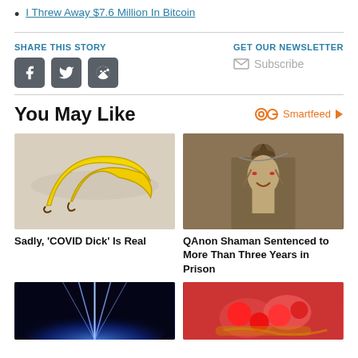I Threw Away $7.6 Million In Bitcoin
SHARE THIS STORY
GET OUR NEWSLETTER
Subscribe
You May Like
Smartfeed
[Figure (photo): Two yellow banana peels on a marble surface]
Sadly, 'COVID Dick' Is Real
[Figure (photo): QAnon Shaman man with horned hat and face paint, screaming]
QAnon Shaman Sentenced to More Than Three Years in Prison
[Figure (photo): Blue glowing light beam or energy effect on dark background]
[Figure (photo): Red peppers and vegetables held in hands]